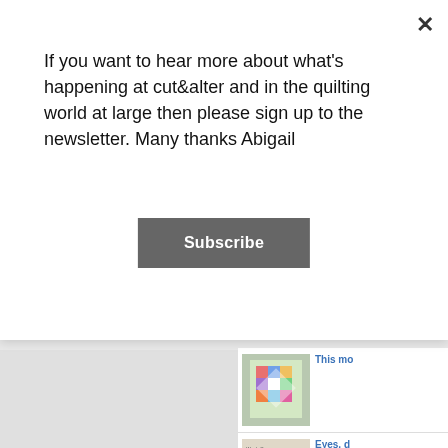If you want to hear more about what's happening at cut&alter and in the quilting world at large then please sign up to the newsletter. Many thanks Abigail
Subscribe
[Figure (screenshot): Colorful patchwork quilt thumbnail image in sidebar]
This mo
[Figure (screenshot): Warning label / care instructions document thumbnail]
Eyes, d
Well wh
[Figure (screenshot): 2017 Advice & Tech Help for New Quilt Bloggers badge/graphic]
2017 Ne
If you re